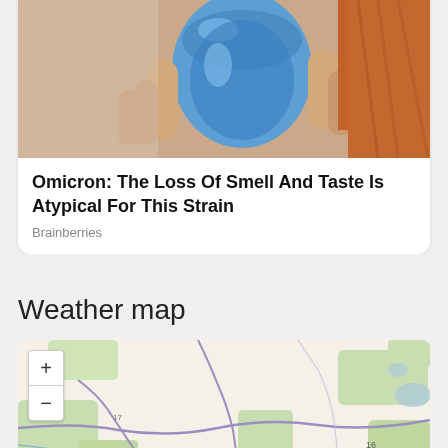[Figure (photo): Photo of a person holding a blue water bottle or cup, with red/orange hair visible in the background.]
Omicron: The Loss Of Smell And Taste Is Atypical For This Strain
Brainberries
Weather map
[Figure (map): Interactive OpenStreetMap showing a geographic region with roads, rivers, and green areas. Zoom controls (+/-) visible in top-left.]